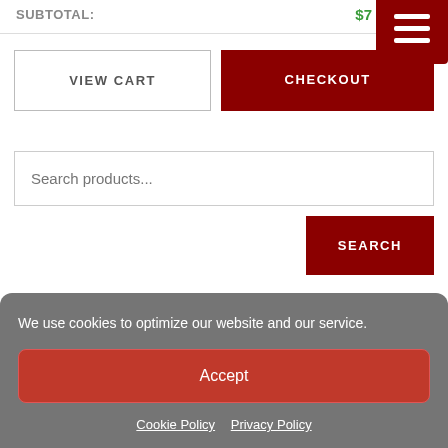SUBTOTAL: $7...
VIEW CART
CHECKOUT
Search products...
SEARCH
We use cookies to optimize our website and our service.
Accept
Cookie Policy   Privacy Policy